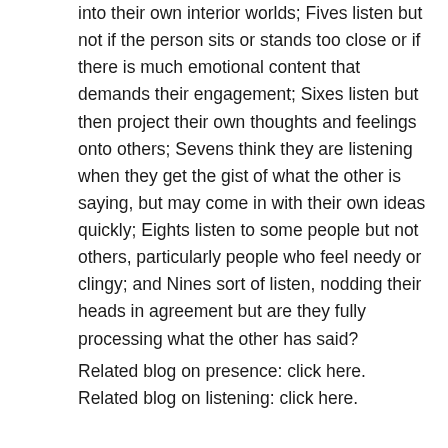into their own interior worlds; Fives listen but not if the person sits or stands too close or if there is much emotional content that demands their engagement; Sixes listen but then project their own thoughts and feelings onto others; Sevens think they are listening when they get the gist of what the other is saying, but may come in with their own ideas quickly; Eights listen to some people but not others, particularly people who feel needy or clingy; and Nines sort of listen, nodding their heads in agreement but are they fully processing what the other has said?
Related blog on presence: click here.
Related blog on listening: click here.